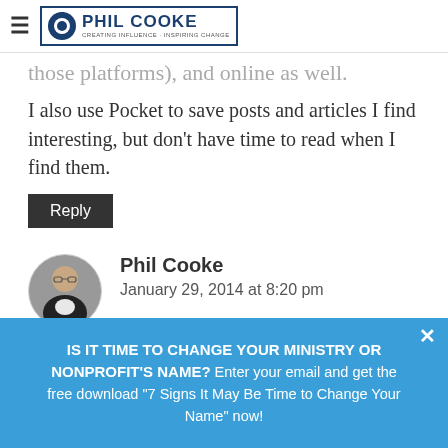Phil Cooke - Creating Influence · Inspiring Change
those platforms), and online as well.
I also use Pocket to save posts and articles I find interesting, but don't have time to read when I find them.
Reply
Phil Cooke
January 29, 2014 at 8:20 pm
I LOVE Pocket. I used to use Instapaper, which is good, but Pocket seems to have a little more style. I also used Evernote, but I
IS IT TIME TO CHANGE YOUR MINISTRY OR NONPROFIT'S NAME? Enter your email and get the free download "7 Signs It May Be Time to Change Your Name" now!